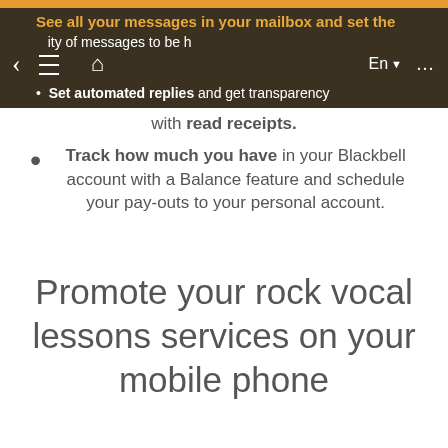See all your messages in your mailbox and set the priority of messages to be handled. Set automated replies and get transparency with read receipts.
Track how much you have in your Blackbell account with a Balance feature and schedule your pay-outs to your personal account.
Promote your rock vocal lessons services on your mobile phone